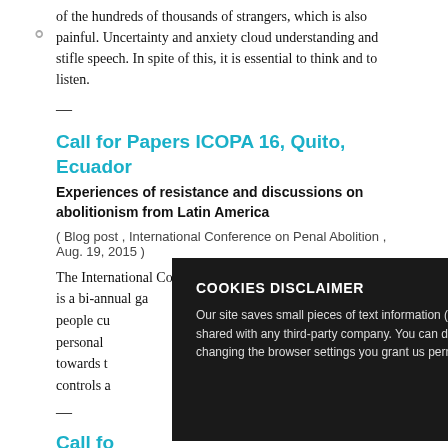of the hundreds of thousands of strangers, which is also painful. Uncertainty and anxiety cloud understanding and stifle speech. In spite of this, it is essential to think and to listen.
—
Call for Papers ICOPA 16, Quito, Ecuador
Experiences of resistance and discussions on abolitionism from Latin America
( Blog post , International Conference on Penal Abolition , Aug. 19, 2015 )
The International Conference on Penal Abolition (ICOPA) is a bi-annual ga... people cu... personal ... towards t... controls a...
COOKIES DISCLAIMER
Our site saves small pieces of text information (cookies) on your device in order to keep sessions open and for statistical purposes. These statistics aren't shared with any third-party company. You can disable the usage of cookies by changing the settings of your browser. By browsing our website without changing the browser settings you grant us permission to store that information on your device.
—
Call fo...
( Blog pos...